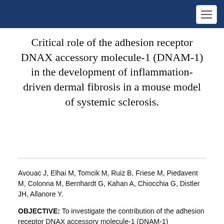Critical role of the adhesion receptor DNAX accessory molecule-1 (DNAM-1) in the development of inflammation-driven dermal fibrosis in a mouse model of systemic sclerosis.
Avouac J, Elhai M, Tomcik M, Ruiz B, Friese M, Piedavent M, Colonna M, Bernhardt G, Kahan A, Chiocchia G, Distler JH, Allanore Y.
OBJECTIVE: To investigate the contribution of the adhesion receptor DNAX accessory molecule-1 (DNAM-1)